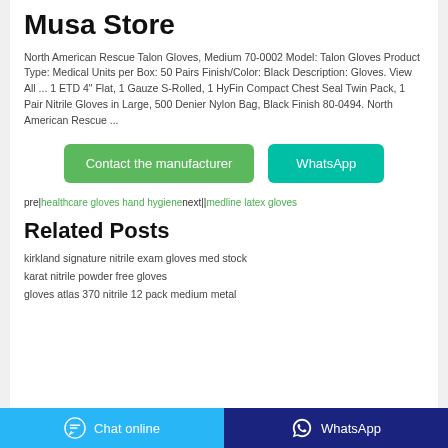Musa Store
North American Rescue Talon Gloves, Medium 70-0002 Model: Talon Gloves Product Type: Medical Units per Box: 50 Pairs Finish/Color: Black Description: Gloves. View All ... 1 ETD 4" Flat, 1 Gauze S-Rolled, 1 HyFin Compact Chest Seal Twin Pack, 1 Pair Nitrile Gloves in Large, 500 Denier Nylon Bag, Black Finish 80-0494. North American Rescue ...
Contact the manufacturer | WhatsApp
pre|healthcare gloves hand hygiene next||medline latex gloves
Related Posts
kirkland signature nitrile exam gloves med stock
karat nitrile powder free gloves
gloves atlas 370 nitrile 12 pack medium metal
Chat online | WhatsApp